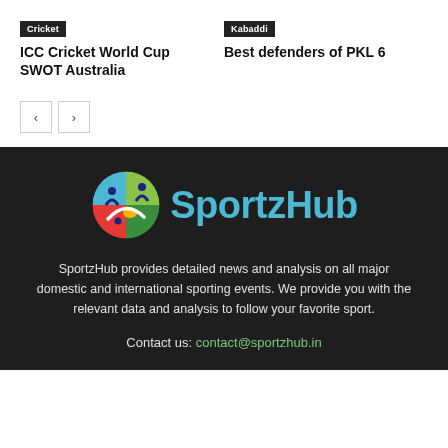Cricket
ICC Cricket World Cup SWOT Australia
Kabaddi
Best defenders of PKL 6
[Figure (logo): SportzHub logo with colorful circular icon and teal text reading SportzHub]
SportzHub provides detailed news and analysis on all major domestic and international sporting events. We provide you with the relevant data and analysis to follow your favorite sport.
Contact us: contact@sportzhub.in